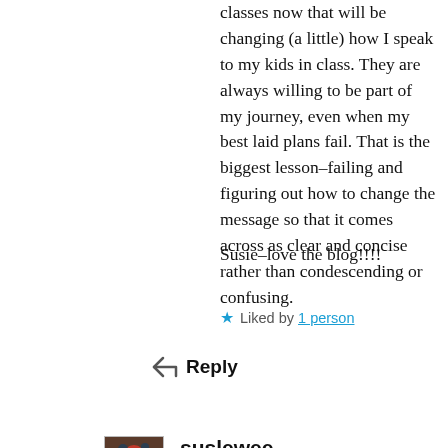classes now that will be changing (a little) how I speak to my kids in class. They are always willing to be part of my journey, even when my best laid plans fail. That is the biggest lesson–failing and figuring out how to change the message so that it comes across as clear and concise rather than condescending or confusing.
Susie–love the blog!!!!
★ Liked by 1 person
Reply
suslewee
AUGUST 2, 2017 AT 8:28 PM
@Caroline – Teaching is such a great example where your language matters and where you can